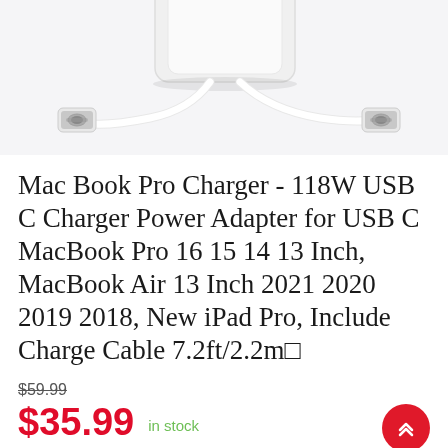[Figure (photo): Product photo of Mac Book Pro USB-C charger adapter with white USB-C cable showing two USB-C connectors, on white background]
Mac Book Pro Charger - 118W USB C Charger Power Adapter for USB C MacBook Pro 16 15 14 13 Inch, MacBook Air 13 Inch 2021 2020 2019 2018, New iPad Pro, Include Charge Cable 7.2ft/2.2m□
$59.99
$35.99  in stock